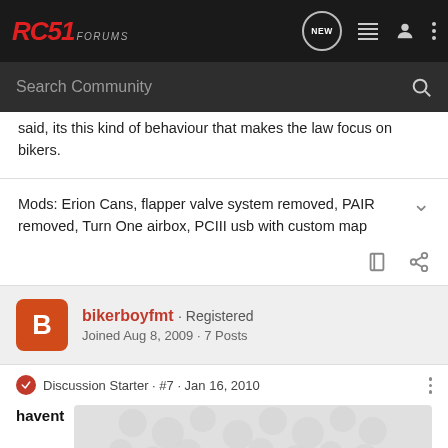RC51 FORUMS
said, its this kind of behaviour that makes the law focus on bikers.
Mods: Erion Cans, flapper valve system removed, PAIR removed, Turn One airbox, PCIII usb with custom map
bikerboyfmt · Registered
Joined Aug 8, 2009 · 7 Posts
Discussion Starter · #7 · Jan 16, 2010
havent